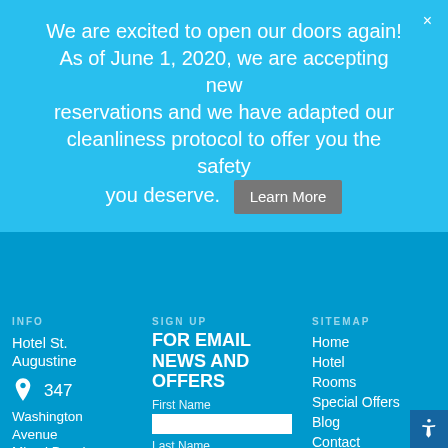We are excited to open our doors again! As of June 1, 2020, we are accepting new reservations and we have adapted our cleanliness protocol to offer you the safety you deserve. Learn More
INFO
SIGN UP FOR EMAIL NEWS AND OFFERS
SITEMAP
Hotel St. Augustine
347 Washington Avenue Miami Beach, FL 33139
First Name
Last Name
Email Address
Home
Hotel
Rooms
Special Offers
Blog
Contact
Accessibility